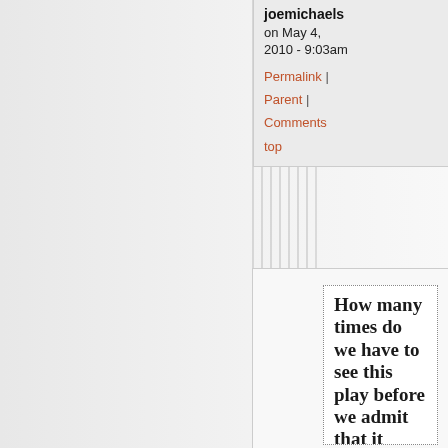joemichaels
on May 4, 2010 - 9:03am
Permalink | Parent | Comments top
How many times do we have to see this play before we admit that it always ends